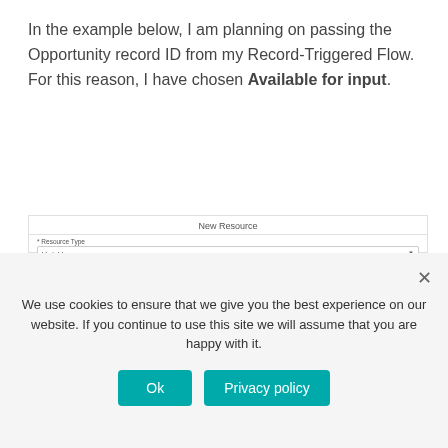In the example below, I am planning on passing the Opportunity record ID from my Record-Triggered Flow. For this reason, I have chosen Available for input.
[Figure (screenshot): New Resource dialog form screenshot showing fields: Resource Type (Variable), API Name (Opp_Record_ID), Description (empty), Data Type (Text), Allow multiple values (collection) checkbox, and Default value field.]
We use cookies to ensure that we give you the best experience on our website. If you continue to use this site we will assume that you are happy with it.